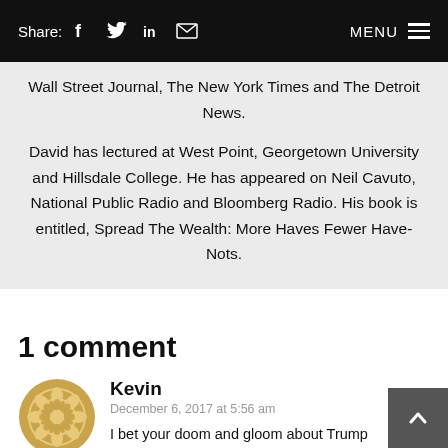Share: [Facebook] [Twitter] [LinkedIn] [Email]   MENU
Wall Street Journal, The New York Times and The Detroit News.

David has lectured at West Point, Georgetown University and Hillsdale College. He has appeared on Neil Cavuto, National Public Radio and Bloomberg Radio. His book is entitled, Spread The Wealth: More Haves Fewer Have-Nots.
1 comment
Kevin
December 6, 2017 at 5:56 am
I bet your doom and gloom about Trump is totally wrong David. We now